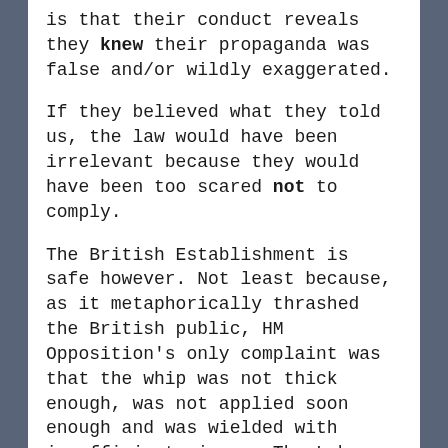is that their conduct reveals they knew their propaganda was false and/or wildly exaggerated.
If they believed what they told us, the law would have been irrelevant because they would have been too scared not to comply.
The British Establishment is safe however. Not least because, as it metaphorically thrashed the British public, HM Opposition's only complaint was that the whip was not thick enough, was not applied soon enough and was wielded with insufficient vigour. The Labour Party is not going to hold HM Government's feet to the fire for forgetting our every liberal tradition because HMG's ripostes will all be examples of Labour's demands for more, more, more state violence.
It's hard to say more for I have believed you...